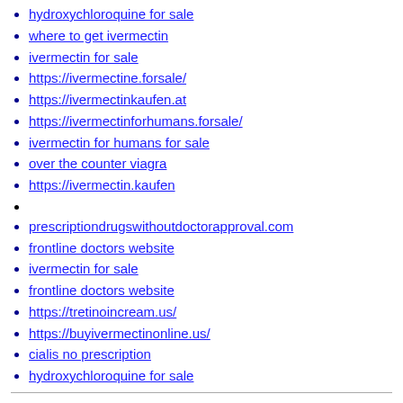hydroxychloroquine for sale
where to get ivermectin
ivermectin for sale
https://ivermectine.forsale/
https://ivermectinkaufen.at
https://ivermectinforhumans.forsale/
ivermectin for humans for sale
over the counter viagra
https://ivermectin.kaufen
prescriptiondrugswithoutdoctorapproval.com
frontline doctors website
ivermectin for sale
frontline doctors website
https://tretinoincream.us/
https://buyivermectinonline.us/
cialis no prescription
hydroxychloroquine for sale